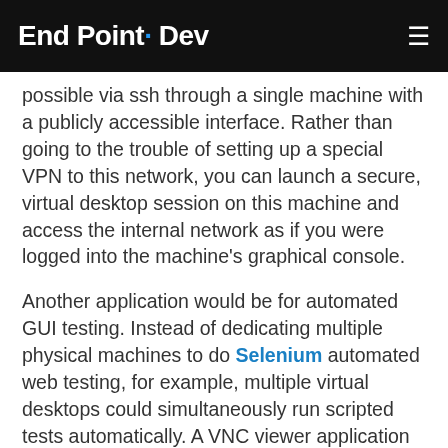End Point Dev
possible via ssh through a single machine with a publicly accessible interface. Rather than going to the trouble of setting up a special VPN to this network, you can launch a secure, virtual desktop session on this machine and access the internal network as if you were logged into the machine's graphical console.
Another application would be for automated GUI testing. Instead of dedicating multiple physical machines to do Selenium automated web testing, for example, multiple virtual desktops could simultaneously run scripted tests automatically. A VNC viewer application could be used to connect to any of the instances at any time to view progress or do debugging.
The next...